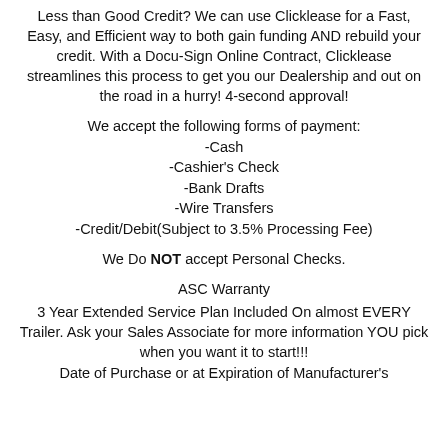Less than Good Credit? We can use Clicklease for a Fast, Easy, and Efficient way to both gain funding AND rebuild your credit. With a Docu-Sign Online Contract, Clicklease streamlines this process to get you our Dealership and out on the road in a hurry! 4-second approval!
We accept the following forms of payment:
-Cash
-Cashier's Check
-Bank Drafts
-Wire Transfers
-Credit/Debit(Subject to 3.5% Processing Fee)
We Do NOT accept Personal Checks.
ASC Warranty
3 Year Extended Service Plan Included On almost EVERY Trailer. Ask your Sales Associate for more information YOU pick when you want it to start!!! Date of Purchase or at Expiration of Manufacturer's